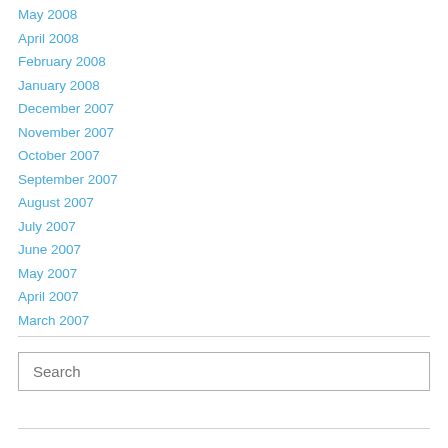May 2008
April 2008
February 2008
January 2008
December 2007
November 2007
October 2007
September 2007
August 2007
July 2007
June 2007
May 2007
April 2007
March 2007
Search